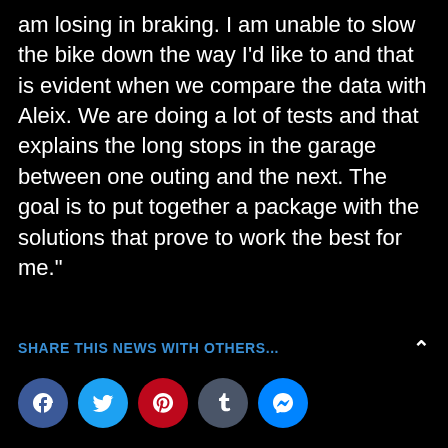am losing in braking. I am unable to slow the bike down the way I’d like to and that is evident when we compare the data with Aleix. We are doing a lot of tests and that explains the long stops in the garage between one outing and the next. The goal is to put together a package with the solutions that prove to work the best for me.”
SHARE THIS NEWS WITH OTHERS...
[Figure (infographic): Row of five circular social media share buttons: Facebook (dark blue, f), Twitter (light blue, bird), Pinterest (red, P), Tumblr (dark gray, t), Messenger (blue, lightning bolt)]